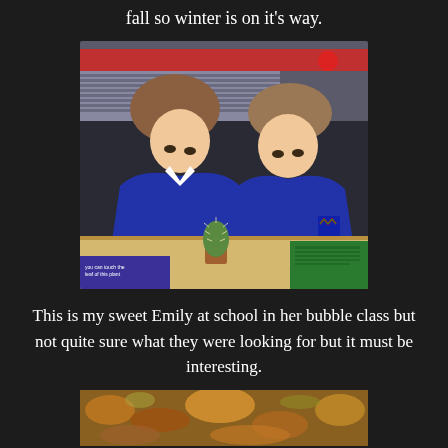fall so winter is on it's way.
[Figure (photo): Two children in blue school uniforms leaning over a table looking at a small cactus in a pot. There are green and purple/blue information leaflets on the table.]
This is my sweet Emily at school in her bubble class but not quite sure what they were looking for but it must be interesting.
[Figure (photo): Partial view of what appears to be an outdoor ground surface with autumn leaves or similar natural material, partially cut off at the bottom of the page.]